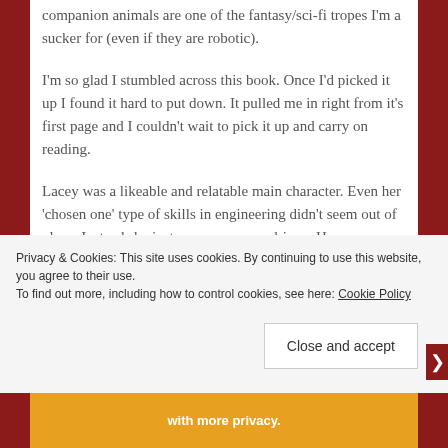companion animals are one of the fantasy/sci-fi tropes I'm a sucker for (even if they are robotic).
I'm so glad I stumbled across this book. Once I'd picked it up I found it hard to put down. It pulled me in right from it's first page and I couldn't wait to pick it up and carry on reading.
Lacey was a likeable and relatable main character. Even her 'chosen one' type of skills in engineering didn't seem out of place. Instead she just came across as driven. Her relationship with her friends old and new were very believable especially when Lacey and her best friend Zora were figuring out how
Privacy & Cookies: This site uses cookies. By continuing to use this website, you agree to their use.
To find out more, including how to control cookies, see here: Cookie Policy
Close and accept